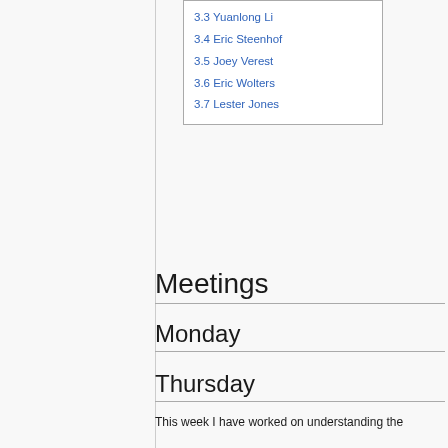3.3 Yuanlong Li
3.4 Eric Steenhof
3.5 Joey Verest
3.6 Eric Wolters
3.7 Lester Jones
Meetings
Monday
Thursday
Plan
Progress
Kasper Bakker
Frank van Heeswijk
This week I have worked on understanding the